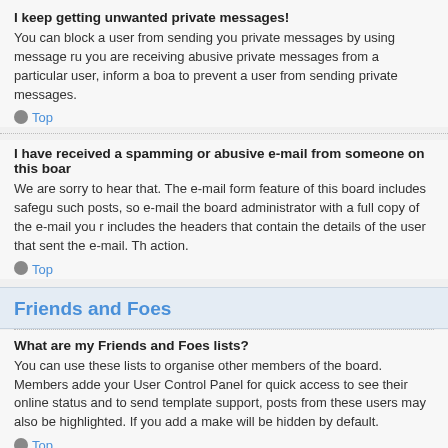I keep getting unwanted private messages!
You can block a user from sending you private messages by using message ru... you are receiving abusive private messages from a particular user, inform a boa... to prevent a user from sending private messages.
Top
I have received a spamming or abusive e-mail from someone on this boar...
We are sorry to hear that. The e-mail form feature of this board includes safegu... such posts, so e-mail the board administrator with a full copy of the e-mail you r... includes the headers that contain the details of the user that sent the e-mail. Th... action.
Top
Friends and Foes
What are my Friends and Foes lists?
You can use these lists to organise other members of the board. Members adde... your User Control Panel for quick access to see their online status and to send... template support, posts from these users may also be highlighted. If you add a... make will be hidden by default.
Top
How can I add / remove users to my Friends or Foes list?
You can add users to your list in two ways. Within each user's profile, there is a... Foes list. Alternatively, from your User Control Panel, you can directly add the...